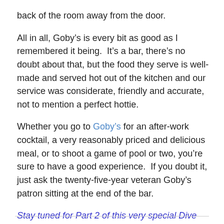back of the room away from the door.
All in all, Goby’s is every bit as good as I remembered it being.  It’s a bar, there’s no doubt about that, but the food they serve is well-made and served hot out of the kitchen and our service was considerate, friendly and accurate, not to mention a perfect hottie.
Whether you go to Goby’s for an after-work cocktail, a very reasonably priced and delicious meal, or to shoot a game of pool or two, you’re sure to have a good experience.  If you doubt it, just ask the twenty-five-year veteran Goby’s patron sitting at the end of the bar.
Stay tuned for Part 2 of this very special Dive Night, which will be posted later this week.